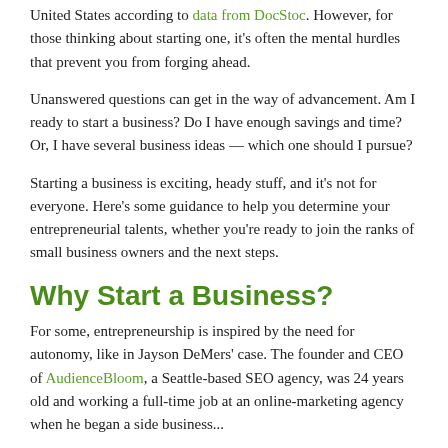United States according to data from DocStoc. However, for those thinking about starting one, it’s often the mental hurdles that prevent you from forging ahead.
Unanswered questions can get in the way of advancement. Am I ready to start a business? Do I have enough savings and time? Or, I have several business ideas — which one should I pursue?
Starting a business is exciting, heady stuff, and it’s not for everyone. Here’s some guidance to help you determine your entrepreneurial talents, whether you’re ready to join the ranks of small business owners and the next steps.
Why Start a Business?
For some, entrepreneurship is inspired by the need for autonomy, like in Jayson DeMers’ case. The founder and CEO of AudienceBloom, a Seattle-based SEO agency, was 24 years old and working a full-time job at an online-marketing agency when he began a side business...